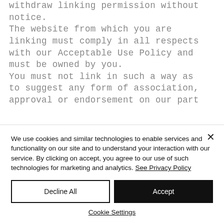withdraw linking permission without notice. The website from which you are linking must comply in all respects with our Acceptable Use Policy and must be owned by you. You must not link in such a way as to suggest any form of association, approval or endorsement on our part
We use cookies and similar technologies to enable services and functionality on our site and to understand your interaction with our service. By clicking on accept, you agree to our use of such technologies for marketing and analytics. See Privacy Policy